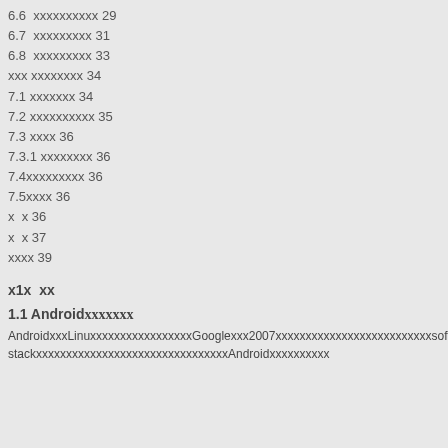6.6  xxxxxxxxxx 29
6.7  xxxxxxxxx 31
6.8  xxxxxxxxx 33
xxx xxxxxxxx 34
7.1 xxxxxxx 34
7.2 xxxxxxxxxx 35
7.3 xxxx 36
7.3.1 xxxxxxxx 36
7.4xxxxxxxxx 36
7.5xxxx 36
x  x 36
x  x 37
xxxx 39
x1x  xx
1.1 AndroidxxxxxxX
AndroidxxxLinuxxxxxxxxxxxxGooglexxx2007xxxxxxxxxxxxxxxxxxxxxxsoftware stackxxxxxxxxxxxxxxxxxxxxxxAndroidxxxxxxxxxx
[Figure (screenshot): A UI dialog panel showing a QQ login prompt with two user accounts (account1 and account2) each shown with a penguin mascot icon, an orange header bar with Chinese text, a yellow arrow button on the left, and a cancel option at the bottom.]